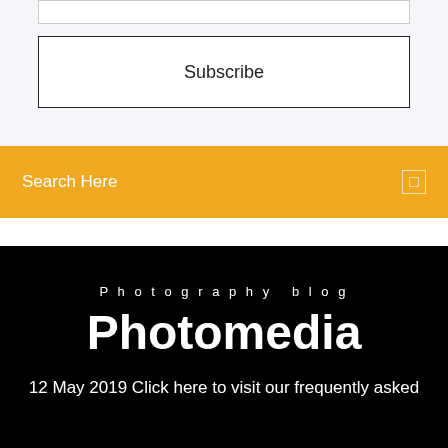[Figure (screenshot): Top section with a white input bar and a Subscribe button with black border, on a light lavender-white background]
Subscribe
Search Here
Photography blog
Photomedia
12 May 2019 Click here to visit our frequently asked